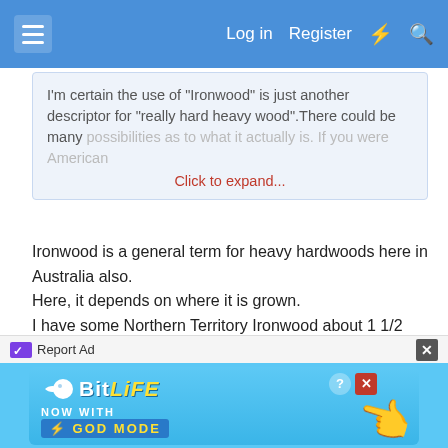Log in | Register
I'm certain the use of "Ironwood" is just another descriptor for "really hard heavy wood".There could be many possibilities as to what it actually is. If you were American
Click to expand...
Ironwood is a general term for heavy hardwoods here in Australia also.
Here, it depends on where it is grown.
I have some Northern Territory Ironwood about 1 1/2 inch square - its deep red with small "yellow" flecks and turns like metal with an incredible polished finish. This stuff is denser and harder than Lignum.
I have not been able to locate any more, but would use this instead of Lignum - even though it does not have the lubricating properties
Also have some true African black ebony, which is
[Figure (screenshot): BitLife advertisement banner with 'NOW WITH GOD MODE' text and hand pointing illustration]